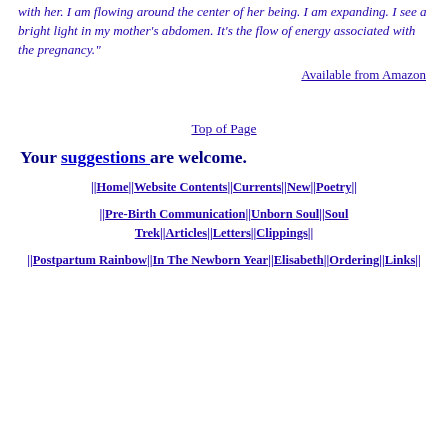with her. I am flowing around the center of her being. I am expanding. I see a bright light in my mother's abdomen. It's the flow of energy associated with the pregnancy."
Available from Amazon
Top of Page
Your suggestions are welcome.
||Home||Website Contents||Currents||New||Poetry||
||Pre-Birth Communication||Unborn Soul||Soul Trek||Articles||Letters||Clippings||
||Postpartum Rainbow||In The Newborn Year||Elisabeth||Ordering||Links||